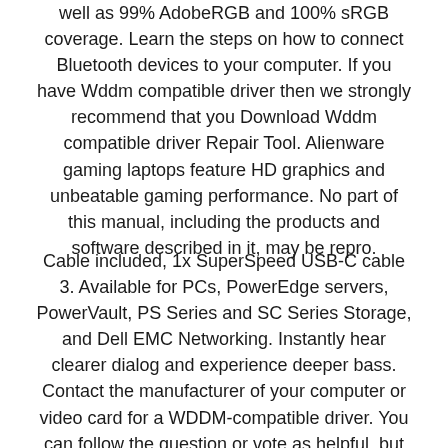well as 99% AdobeRGB and 100% sRGB coverage. Learn the steps on how to connect Bluetooth devices to your computer. If you have Wddm compatible driver then we strongly recommend that you Download Wddm compatible driver Repair Tool. Alienware gaming laptops feature HD graphics and unbeatable gaming performance. No part of this manual, including the products and software described in it, may be repro.
Cable included, 1x SuperSpeed USB-C cable 3. Available for PCs, PowerEdge servers, PowerVault, PS Series and SC Series Storage, and Dell EMC Networking. Instantly hear clearer dialog and experience deeper bass. Contact the manufacturer of your computer or video card for a WDDM-compatible driver. You can follow the question or vote as helpful, but you cannot reply to this thread. Connect a wide